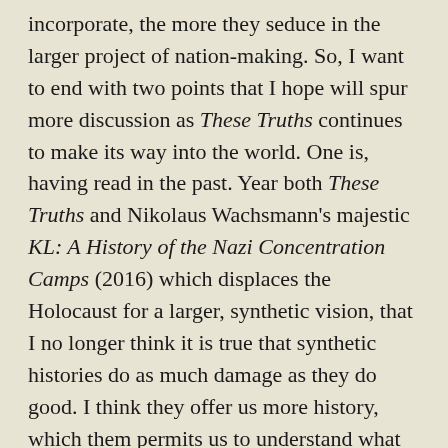incorporate, the more they seduce in the larger project of nation-making. So, I want to end with two points that I hope will spur more discussion as These Truths continues to make its way into the world. One is, having read in the past. Year both These Truths and Nikolaus Wachsmann's majestic KL: A History of the Nazi Concentration Camps (2016) which displaces the Holocaust for a larger, synthetic vision, that I no longer think it is true that synthetic histories do as much damage as they do good. I think they offer us more history, which them permits us to understand what we care about most in a larger context.
Finally, I think synthetic histories are a great...